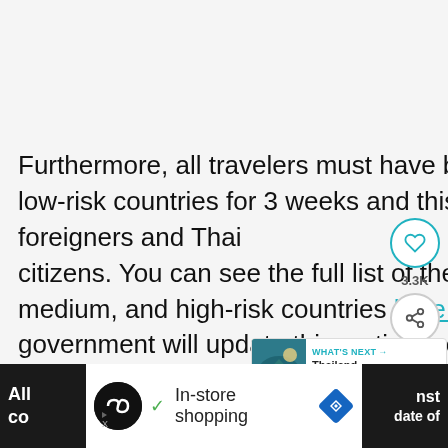Furthermore, all travelers must have been in those medium to low-risk countries for 3 weeks and this applies to both foreigners and Thai citizens. You can see the full list of the low, medium, and high-risk countries here. The government will update this as time goes on, so keep a close eye on it.
[Figure (screenshot): Social media widget with heart/like button showing 3.3K likes and a share button]
[Figure (screenshot): What's Next card showing Thailand Confirms... with a landscape photo]
[Figure (screenshot): Bottom advertisement banner with In-store shopping ad and dark sidebars showing partial text]